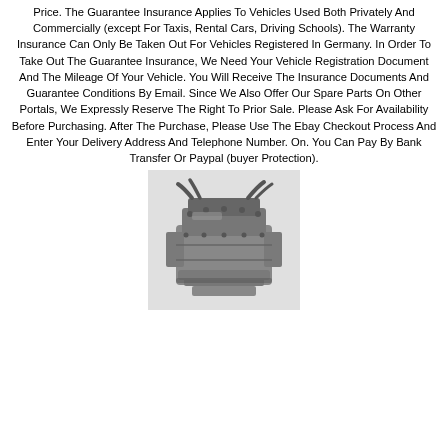Price. The Guarantee Insurance Applies To Vehicles Used Both Privately And Commercially (except For Taxis, Rental Cars, Driving Schools). The Warranty Insurance Can Only Be Taken Out For Vehicles Registered In Germany. In Order To Take Out The Guarantee Insurance, We Need Your Vehicle Registration Document And The Mileage Of Your Vehicle. You Will Receive The Insurance Documents And Guarantee Conditions By Email. Since We Also Offer Our Spare Parts On Other Portals, We Expressly Reserve The Right To Prior Sale. Please Ask For Availability Before Purchasing. After The Purchase, Please Use The Ebay Checkout Process And Enter Your Delivery Address And Telephone Number. On. You Can Pay By Bank Transfer Or Paypal (buyer Protection).
[Figure (photo): Black and white photograph of a car engine (used auto part), viewed from above at a slight angle, showing complex mechanical components.]